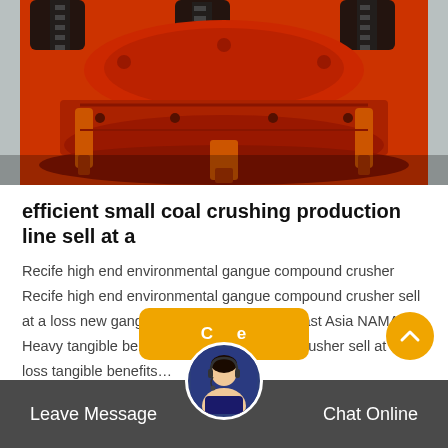[Figure (photo): Close-up photo of an orange/red industrial cone crusher machine with black spring coils and hydraulic cylinders on a grey background]
efficient small coal crushing production line sell at a
Recife high end environmental gangue compound crusher Recife high end environmental gangue compound crusher sell at a loss new gangue jaw crusher in Southeast Asia NAMARI Heavy tangible benefits new kaolin mobile crusher sell at a loss tangible benefits…
Leave Message   Chat Online